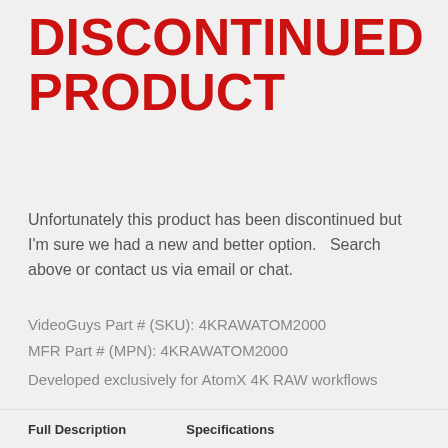DISCONTINUED PRODUCT
Unfortunately this product has been discontinued but I'm sure we had a new and better option.   Search above or contact us via email or chat.
VideoGuys Part # (SKU): 4KRAWATOM2000
MFR Part # (MPN): 4KRAWATOM2000
Developed exclusively for AtomX 4K RAW workflows
Full Description    Specifications